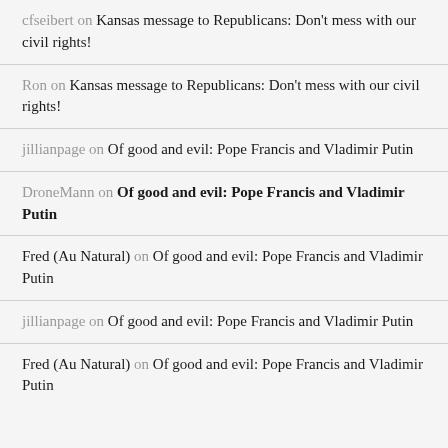cfseibert on Kansas message to Republicans: Don't mess with our civil rights!
Ron on Kansas message to Republicans: Don't mess with our civil rights!
jillianpage on Of good and evil: Pope Francis and Vladimir Putin
DroneMann on Of good and evil: Pope Francis and Vladimir Putin
Fred (Au Natural) on Of good and evil: Pope Francis and Vladimir Putin
jillianpage on Of good and evil: Pope Francis and Vladimir Putin
Fred (Au Natural) on Of good and evil: Pope Francis and Vladimir Putin